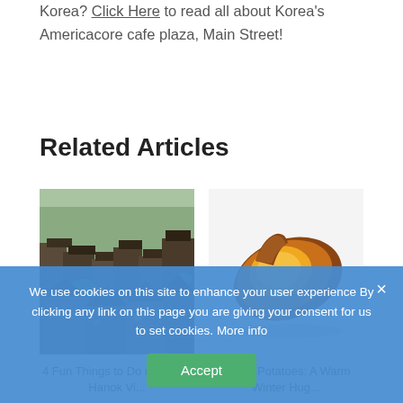Korea? Click Here to read all about Korea's Americacore cafe plaza, Main Street!
Related Articles
[Figure (photo): Aerial view of traditional Korean rooftops in Jeonju Hanok Village]
4 Fun Things to Do in Jeonju Hanok Vi...
[Figure (photo): A roasted sweet potato with skin peeling back, on white background]
Sweet Potatoes: A Warm Winter Hug...
We use cookies on this site to enhance your user experience By clicking any link on this page you are giving your consent for us to set cookies. More info
Accept